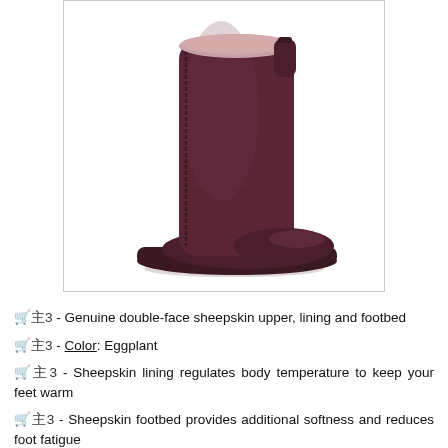[Figure (photo): A dark eggplant/purple-colored suede ankle boot (UGG-style) shown from the side on a white background, inside a bordered image box. The boot has a rubber outsole and sheepskin lining visible at the top.]
🛒 - Genuine double-face sheepskin upper, lining and footbed
🛒 - Color: Eggplant
🛒 - Sheepskin lining regulates body temperature to keep your feet warm
🛒 - Sheepskin footbed provides additional softness and reduces foot fatigue
🛒 - Rubber outsole is lightweight and flexible on many